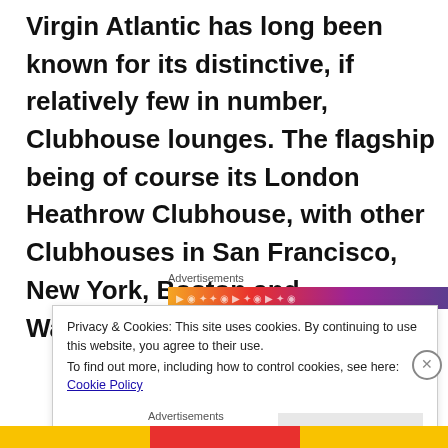Virgin Atlantic has long been known for its distinctive, if relatively few in number, Clubhouse lounges. The flagship being of course its London Heathrow Clubhouse, with other Clubhouses in San Francisco, New York, Boston and Washington.
Advertisements
Privacy & Cookies: This site uses cookies. By continuing to use this website, you agree to their use.
To find out more, including how to control cookies, see here: Cookie Policy
Close and accept
Advertisements